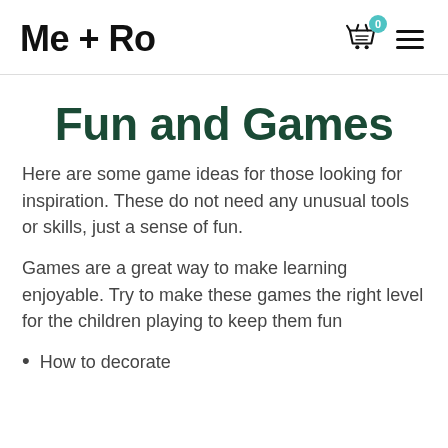Me + Ro
Fun and Games
Here are some game ideas for those looking for inspiration.  These do not need any unusual tools or skills, just a sense of fun.
Games are a great way to make learning enjoyable.  Try to make these games the right level for the children playing to keep them fun
How to decorate